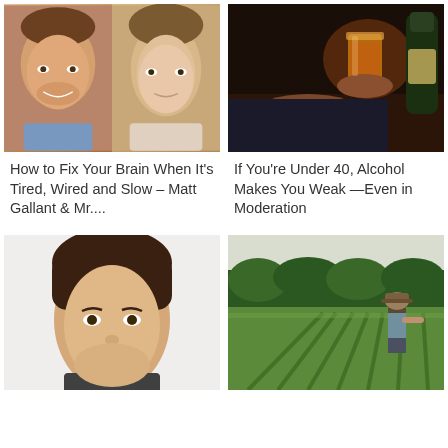[Figure (photo): Two men smiling, portrait photos side by side]
[Figure (photo): Person holding a glass of alcohol and a beer bottle]
How to Fix Your Brain When It's Tired, Wired and Slow – Matt Gallant & Mr....
If You're Under 40, Alcohol Makes You Weak —Even in Moderation
[Figure (photo): Young man with brown hair, portrait photo]
[Figure (photo): Farmer looking over a green crop field with trees in background]